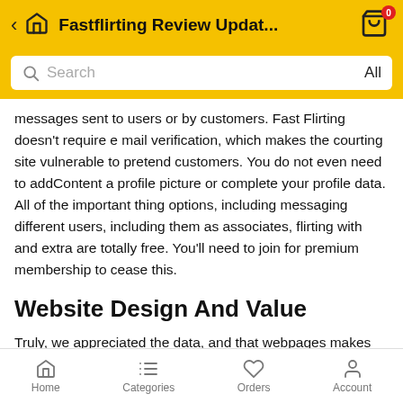Fastflirting Review Updat...
messages sent to users or by customers. Fast Flirting doesn't require e mail verification, which makes the courting site vulnerable to pretend customers. You do not even need to addContent a profile picture or complete your profile data. All of the important thing options, including messaging different users, including them as associates, flirting with and extra are totally free. You'll need to join for premium membership to cease this.
Website Design And Value
Truly, we appreciated the data, and that webpages makes relationships easily as should you posses fulfilled these folks in a caf or a mall. Soon, there was excellent outcomes with
Home   Categories   Orders   Account